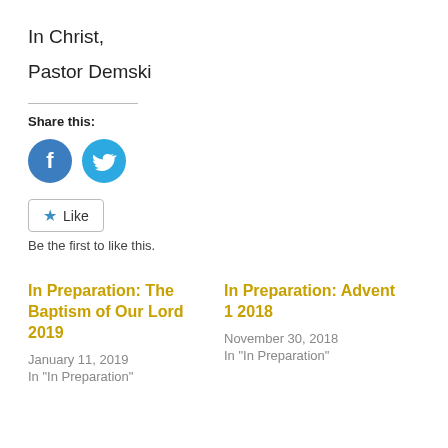In Christ,
Pastor Demski
Share this:
[Figure (other): Facebook and Twitter share icon buttons (blue circles with white logos)]
[Figure (other): Like button widget with star icon]
Be the first to like this.
In Preparation: The Baptism of Our Lord 2019
January 11, 2019
In "In Preparation"
In Preparation: Advent 1 2018
November 30, 2018
In "In Preparation"